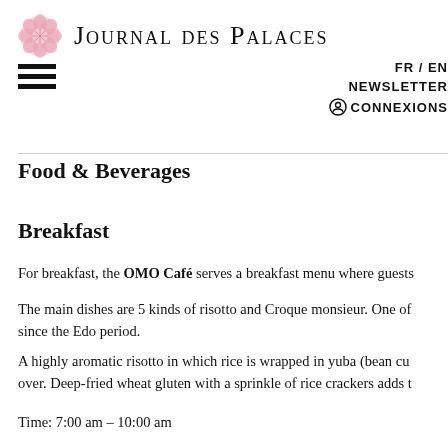Journal des Palaces
FR / EN
NEWSLETTER
CONNEXIONS
Food & Beverages
Breakfast
For breakfast, the OMO Café serves a breakfast menu where guests
The main dishes are 5 kinds of risotto and Croque monsieur. One of since the Edo period.
A highly aromatic risotto in which rice is wrapped in yuba (bean cu over. Deep-fried wheat gluten with a sprinkle of rice crackers adds t
Time: 7:00 am – 10:00 am